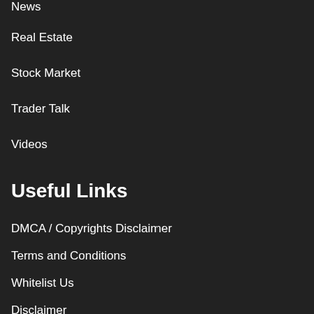News
Real Estate
Stock Market
Trader Talk
Videos
Useful Links
DMCA / Copyrights Disclaimer
Terms and Conditions
Whitelist Us
Disclaimer
Privacy Policy
Abuse